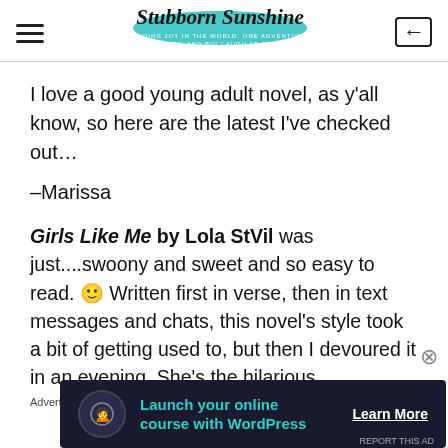Stubborn Sunshine
I love a good young adult novel, as y'all know, so here are the latest I've checked out...
–Marissa
Girls Like Me by Lola StVil was just....swoony and sweet and so easy to read. 🙂 Written first in verse, then in text messages and chats, this novel's style took a bit of getting used to, but then I devoured it in an evening. She's the hilarious,
Advertisements
[Figure (screenshot): Advertisement banner: Launch your online course with WordPress. Learn More button.]